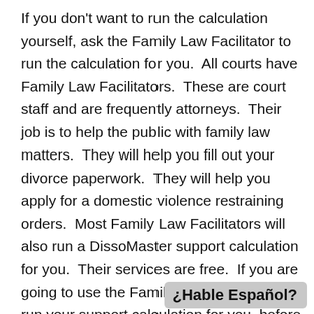If you don't want to run the calculation yourself, ask the Family Law Facilitator to run the calculation for you.  All courts have Family Law Facilitators.  These are court staff and are frequently attorneys.  Their job is to help the public with family law matters.  They will help you fill out your divorce paperwork.  They will help you apply for a domestic violence restraining orders.  Most Family Law Facilitators will also run a DissoMaster support calculation for you.  Their services are free.  If you are going to use the Family Law Facilitator to run your support calculation for you, before you go to the court, check the court's website to see when the Facilitator will be available at your court.  For most courts, the Family Law Facilitators will onl
¿Hable Español?